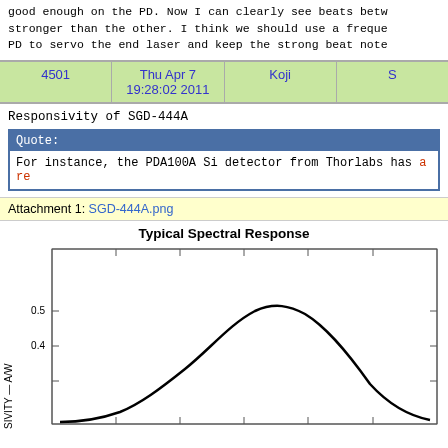good enough on the PD. Now I can clearly see beats betw stronger than the other. I think we should use a freque PD to servo the end laser and keep the strong beat note
| 4501 | Thu Apr 7 19:28:02 2011 | Koji | S |
| --- | --- | --- | --- |
Responsivity of SGD-444A
Quote:
For instance, the PDA100A Si detector from Thorlabs has a re
Attachment 1: SGD-444A.png
[Figure (continuous-plot): A spectral response curve (responsivity in A/W vs wavelength) showing a bell-shaped peak around 0.5 A/W, with y-axis labeled SIVITY — A/W showing values 0.5 and 0.4 visible.]